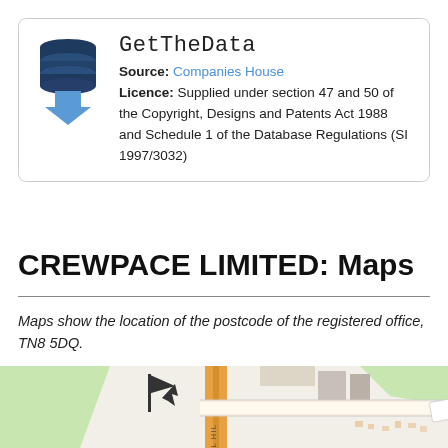[Figure (logo): GetTheData logo: dark blue stacked cylinder database icon with a blue downward arrow below it]
GetTheData
Source: Companies House
Licence: Supplied under section 47 and 50 of the Copyright, Designs and Patents Act 1988 and Schedule 1 of the Database Regulations (SI 1997/3032)
CREWPACE LIMITED: Maps
Maps show the location of the postcode of the registered office, TN8 5DQ.
[Figure (map): Street map showing the area around postcode TN8 5DQ with MEAD ROAD and MILL HILL labels visible, green areas, orange road markings, and a location pin icon]